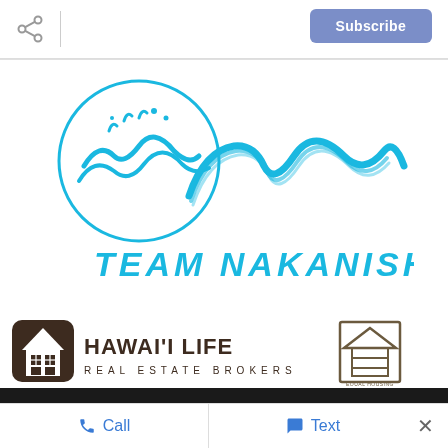Subscribe
[Figure (logo): Team Nakanishi logo with wave and stylized M in cyan blue, text TEAM NAKANISHI below]
[Figure (logo): Hawai'i Life Real Estate Brokers logo with house icon in brown square, and Equal Housing Opportunity logo]
We use cookies to enhance your browsing experience and deliver our services. By continuing to visit this site, you agree to our use of cookies. More info
Call   Text